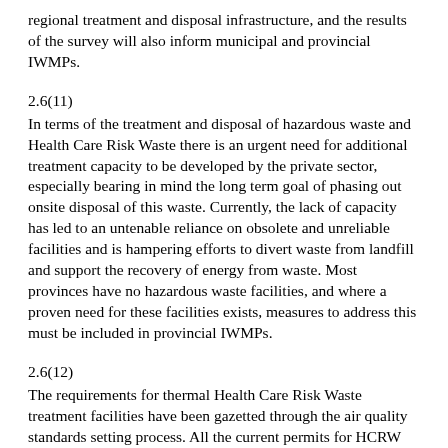regional treatment and disposal infrastructure, and the results of the survey will also inform municipal and provincial IWMPs.
2.6(11)
In terms of the treatment and disposal of hazardous waste and Health Care Risk Waste there is an urgent need for additional treatment capacity to be developed by the private sector, especially bearing in mind the long term goal of phasing out onsite disposal of this waste. Currently, the lack of capacity has led to an untenable reliance on obsolete and unreliable facilities and is hampering efforts to divert waste from landfill and support the recovery of energy from waste. Most provinces have no hazardous waste facilities, and where a proven need for these facilities exists, measures to address this must be included in provincial IWMPs.
2.6(12)
The requirements for thermal Health Care Risk Waste treatment facilities have been gazetted through the air quality standards setting process. All the current permits for HCRW treatment plants will be reviewed to ensure that they meet the requirements. Where Health Care Risk Waste treatment facilities are not compliant with the standards for incinerators set in the National Air Quality standards, the Department will require plans be drawn up for decommissioning the facilities within a